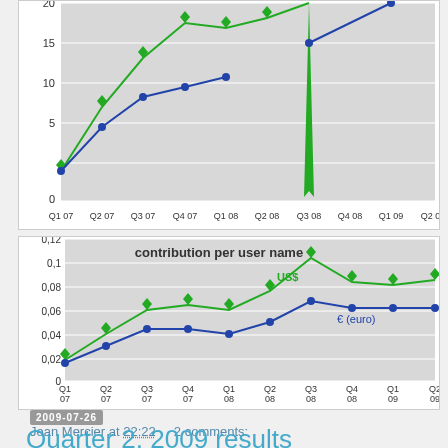[Figure (line-chart): Partial top line chart showing two series (green and blue) from Q1 07 to Q2 09, y-axis 0-20]
[Figure (line-chart): contribution per user name]
Jean Mercier at 22:22    2 comments:
2009-07-26
Quarter 2, 2009 results